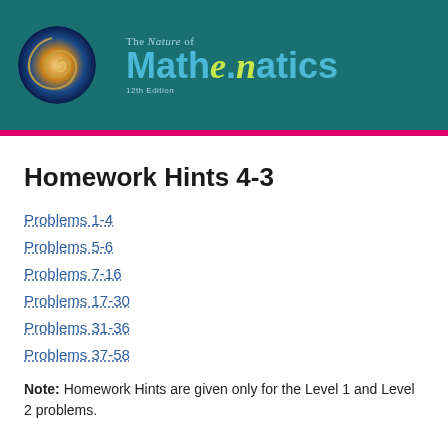[Figure (logo): The Nature of Mathematics textbook header with spiral shell logo on teal background]
Homework Hints 4-3
Problems 1-4
Problems 5-6
Problems 7-16
Problems 17-30
Problems 31-36
Problems 37-58
Note: Homework Hints are given only for the Level 1 and Level 2 problems.